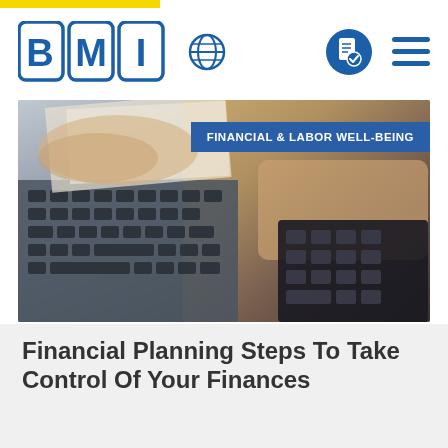BMI logo with globe icon and navigation icons
[Figure (photo): Hands on a laptop keyboard and calculator with financial documents, representing financial planning. A blue badge reads 'FINANCIAL & LABOR WELL-BEING' in the upper right corner.]
Financial Planning Steps To Take Control Of Your Finances